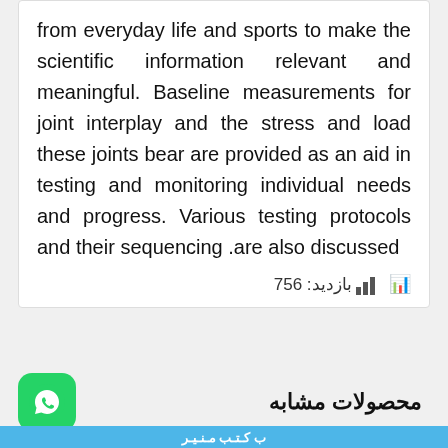from everyday life and sports to make the scientific information relevant and meaningful. Baseline measurements for joint interplay and the stress and load these joints bear are provided as an aid in testing and monitoring individual needs and progress. Various testing protocols and their sequencing .are also discussed
بازدید: 756
[Figure (logo): WhatsApp logo — green rounded square with white phone handset icon]
محصولات مشابه